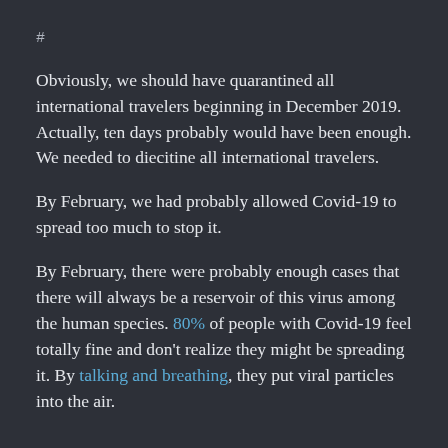#
Obviously, we should have quarantined all international travelers beginning in December 2019. Actually, ten days probably would have been enough. We needed to diecitine all international travelers.
By February, we had probably allowed Covid-19 to spread too much to stop it.
By February, there were probably enough cases that there will always be a reservoir of this virus among the human species. 80% of people with Covid-19 feel totally fine and don't realize they might be spreading it. By talking and breathing, they put viral particles into the air.